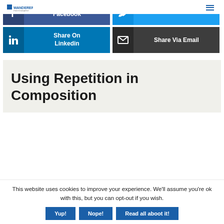WANDERER [logo] ≡
[Figure (screenshot): Social share buttons: Facebook, Twitter (partially cropped at top), Share On Linkedin, Share Via Email]
Using Repetition in Composition
This website uses cookies to improve your experience. We'll assume you're ok with this, but you can opt-out if you wish. Yup! Nope! Read all aboot it!